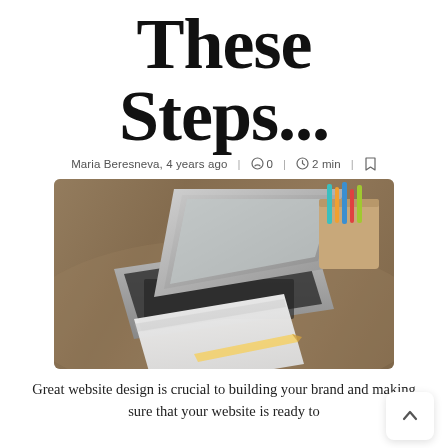These Steps...
Maria Beresneva, 4 years ago  |  0  |  2 min  |
[Figure (photo): A laptop open on a wooden desk with a blank white notepad and a wooden pencil holder with colorful stationery items.]
Great website design is crucial to building your brand and making sure that your website is ready to